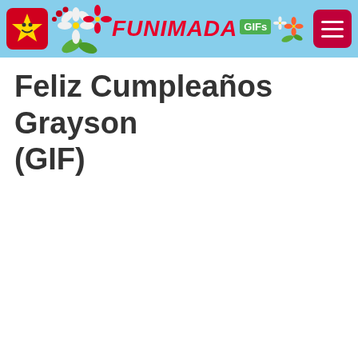[Figure (logo): Funimada GIFs website header bar with sky blue background, star logo on left, decorative flowers, red italic FUNIMADA text with green GIFs badge, and hamburger menu button on right]
Feliz Cumpleaños Grayson (GIF)